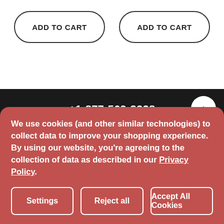ADD TO CART
ADD TO CART
+1-877-569-3228
We use cookies (and other similar technologies) to collect data to improve your shopping experience. By using our website, you're agreeing to the collection of data as described in our Privacy Policy.
Settings
Reject all
Accept All Cookies